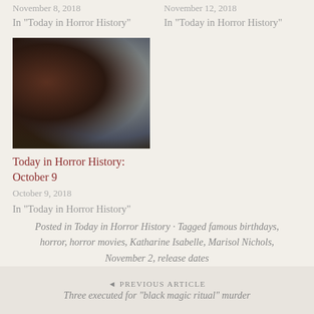November 8, 2018
In "Today in Horror History"
November 12, 2018
In "Today in Horror History"
[Figure (photo): Two horror movie characters with dark, grimy makeup and distressed appearance — a close-up of two female faces side by side]
Today in Horror History: October 9
October 9, 2018
In "Today in Horror History"
Posted in Today in Horror History · Tagged famous birthdays, horror, horror movies, Katharine Isabelle, Marisol Nichols, November 2, release dates
◄ PREVIOUS ARTICLE
Three executed for "black magic ritual" murder